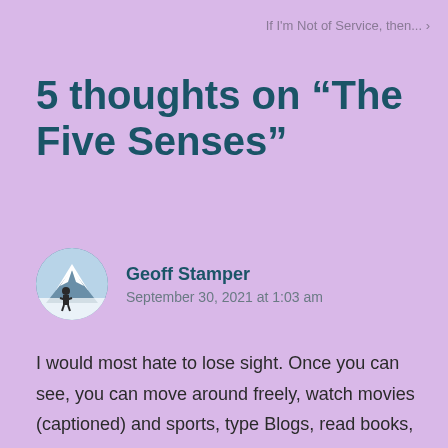If I'm Not of Service, then... ›
5 thoughts on “The Five Senses”
Geoff Stamper
September 30, 2021 at 1:03 am
I would most hate to lose sight. Once you can see, you can move around freely, watch movies (captioned) and sports, type Blogs, read books, hopefully drive, etc.